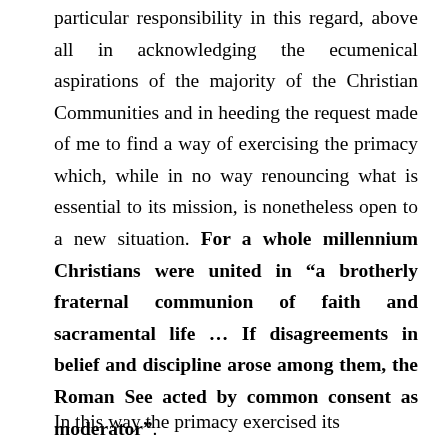particular responsibility in this regard, above all in acknowledging the ecumenical aspirations of the majority of the Christian Communities and in heeding the request made of me to find a way of exercising the primacy which, while in no way renouncing what is essential to its mission, is nonetheless open to a new situation. For a whole millennium Christians were united in “a brotherly fraternal communion of faith and sacramental life … If disagreements in belief and discipline arose among them, the Roman See acted by common consent as moderator”.
In this way the primacy exercised its